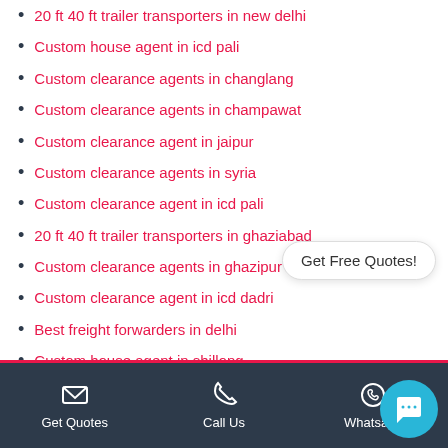20 ft 40 ft trailer transporters in new delhi
Custom house agent in icd pali
Custom clearance agents in changlang
Custom clearance agents in champawat
Custom clearance agent in jaipur
Custom clearance agents in syria
Custom clearance agent in icd pali
20 ft 40 ft trailer transporters in ghaziabad
Custom clearance agents in ghazipur
Custom clearance agent in icd dadri
Best freight forwarders in delhi
Custom house agent in shillong
20 ft 40 ft trailer transporters in kaithal
Custom clearance agents in amman
Custom house agent in moscow
Get Quotes  Call Us  Whatsapp